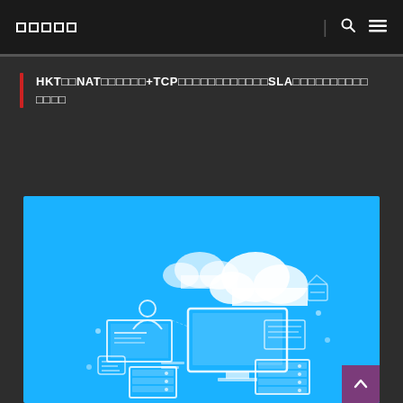□□□□□
HKT□□NAT□□□□□□+TCP□□□□□□□□□□□□SLA□□□□□□□□□□□□□□
[Figure (illustration): Blue banner with network/cloud computing illustration showing servers, monitors, cloud icons, and network devices in white line art style]